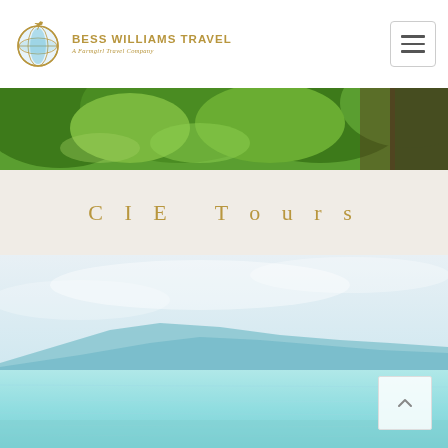[Figure (logo): Bess Williams Travel logo with globe icon and text 'BESS WILLIAMS TRAVEL – A Farmgirl Travel Company']
[Figure (photo): Top photo strip showing green trees and foliage against bright sky]
CIE Tours
[Figure (photo): Scenic photo of a calm turquoise lake or sea with blue mountain silhouette in the background under a hazy sky]
[Figure (other): Back to top button with upward chevron arrow in lower right corner]